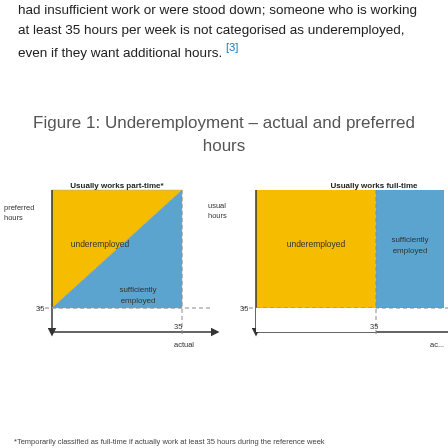had insufficient work or were stood down; someone who is working at least 35 hours per week is not categorised as underemployed, even if they want additional hours. [3]
Figure 1: Underemployment – actual and preferred hours
[Figure (infographic): Two diagrams side by side showing underemployment classification. Left diagram: 'Usually works part-time*' — axes are preferred hours (y) vs actual (x). Upper-left region is gold/yellow labeled 'underemployed'; lower-right triangle is blue labeled 'sufficiently employed'. A dashed diagonal line and a horizontal dashed line at 35 hours divide the regions. Right diagram: 'Usually works full-time' — axes are usual hours (y) vs actual (x). Left region is gold/yellow labeled 'underemployed'; upper-right region is blue labeled 'sufficiently employed'. Horizontal dashed line at 35 hours.]
*Temporarily classified as full-time if actually work at least 35 hours during the reference week